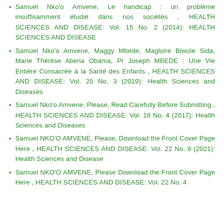Samuel Nko'o Amvene, Le handicap : un problème insuffisamment étudié dans nos sociétés , HEALTH SCIENCES AND DISEASE: Vol. 15 No. 2 (2014): HEALTH SCIENCES AND DISEASE
Samuel Nko'o Amvene, Maggy Mbede, Magloire Biwole Sida, Marie Thérèse Abena Obama, Pr Joseph MBEDE : Une Vie Entière Consacrée à la Santé des Enfants , HEALTH SCIENCES AND DISEASE: Vol. 20 No. 3 (2019): Health Sciences and Diseases
Samuel Nko'o Amvene, Please, Read Carefully Before Submitting , HEALTH SCIENCES AND DISEASE: Vol. 18 No. 4 (2017): Health Sciences and Diseases
Samuel NKO'O AMVENE, Please, Download the Front Cover Page Here , HEALTH SCIENCES AND DISEASE: Vol. 22 No. 8 (2021): Health Sciences and Disease
Samuel NKO'O AMVENE, Please Download the Front Cover Page Here , HEALTH SCIENCES AND DISEASE: Vol. 22 No. 4